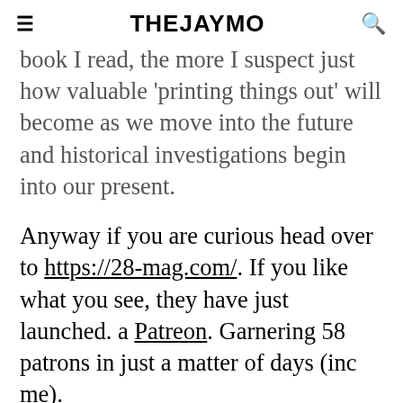THEJAYMO
book I read, the more I suspect just how valuable 'printing things out' will become as we move into the future and historical investigations begin into our present.
Anyway if you are curious head over to https://28-mag.com/. If you like what you see, they have just launched. a Patreon. Garnering 58 patrons in just a matter of days (inc me).